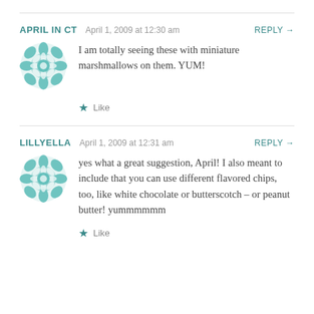APRIL IN CT  April 1, 2009 at 12:30 am  REPLY →
[Figure (illustration): Teal geometric floral avatar icon]
I am totally seeing these with miniature marshmallows on them. YUM!
★ Like
LILLYELLA  April 1, 2009 at 12:31 am  REPLY →
[Figure (illustration): Teal geometric floral avatar icon]
yes what a great suggestion, April! I also meant to include that you can use different flavored chips, too, like white chocolate or butterscotch – or peanut butter! yummmmmm
★ Like